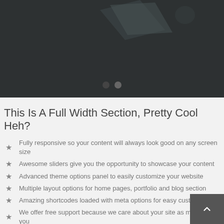[Figure (screenshot): Dark hero/slider section with navigation dots at the bottom showing a website slider with two pagination dots]
This Is A Full Width Section, Pretty Cool Heh?
Fully responsive so your content will always look good on any screen size
Awesome sliders give you the opportunity to showcase your content
Advanced theme options panel to easily customize your website
Multiple layout options for home pages, portfolio and blog section
Amazing shortcodes loaded with meta options for easy customization
We offer free support because we care about your site as much as you